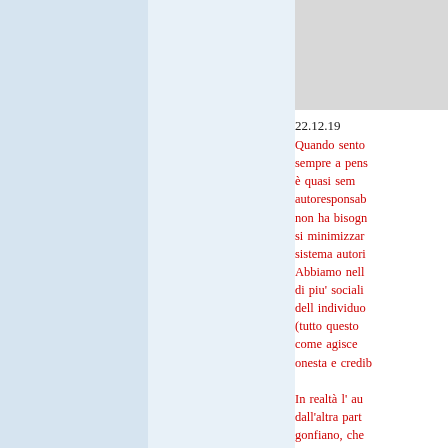22.12.19
Quando sento sempre a pens è quasi sem autoresponsab non ha bisogn si minimizzar sistema autori Abbiamo nell di piu' sociali dell individuo (tutto questo come agisce onesta e credib
In realtà l' au dall'altra part gonfiano, che arbitrarietà, in che vivono lo delle maschere